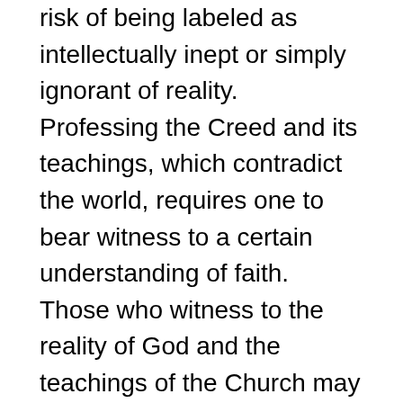risk of being labeled as intellectually inept or simply ignorant of reality. Professing the Creed and its teachings, which contradict the world, requires one to bear witness to a certain understanding of faith. Those who witness to the reality of God and the teachings of the Church may appear foolish in the eyes of the sophisticated. Thus the Creed stands as a relevant document that stands against the secular wave which seeks to envelop the world.
The Creed is also relevant today because it serves as a rule of faith for members of the Church. The Creed guides our understanding of Scripture, for it was developed through an interpretive process of